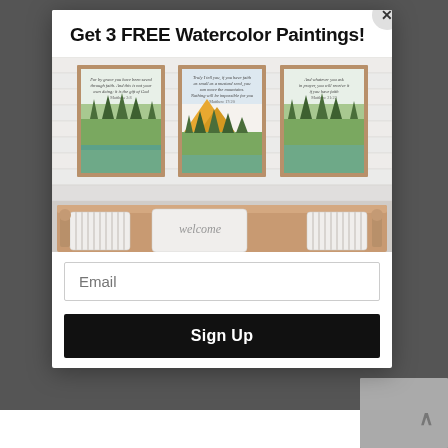Get 3 FREE Watercolor Paintings!
[Figure (photo): Modal popup showing three framed watercolor paintings with scripture quotes displayed on a white shiplap wall above a farmhouse bench with pillows]
Email
Sign Up